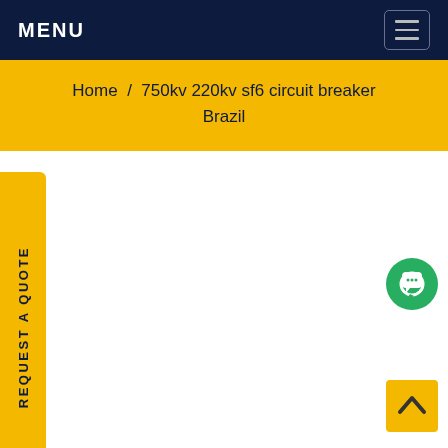MENU
Home / 750kv 220kv sf6 circuit breaker Brazil
REQUEST A QUOTE
[Figure (other): Green circular chat button icon in bottom-right area]
[Figure (other): Yellow back-to-top button with upward arrow in bottom-right corner]